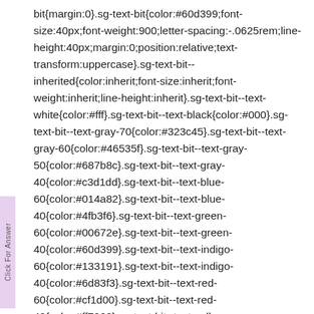bit{margin:0}.sg-text-bit{color:#60d399;font-size:40px;font-weight:900;letter-spacing:-.0625rem;line-height:40px;margin:0;position:relative;text-transform:uppercase}.sg-text-bit--inherited{color:inherit;font-size:inherit;font-weight:inherit;line-height:inherit}.sg-text-bit--text-white{color:#fff}.sg-text-bit--text-black{color:#000}.sg-text-bit--text-gray-70{color:#323c45}.sg-text-bit--text-gray-60{color:#46535f}.sg-text-bit--text-gray-50{color:#687b8c}.sg-text-bit--text-gray-40{color:#c3d1dd}.sg-text-bit--text-blue-60{color:#014a82}.sg-text-bit--text-blue-40{color:#4fb3f6}.sg-text-bit--text-green-60{color:#00672e}.sg-text-bit--text-green-40{color:#60d399}.sg-text-bit--text-indigo-60{color:#133191}.sg-text-bit--text-indigo-40{color:#6d83f3}.sg-text-bit--text-red-60{color:#cf1d00}.sg-text-bit--text-red-40{color:#ff7968}.sg-text-bit--text-yellow-60{color:#935000}.sg-text-bit--text-yellow-